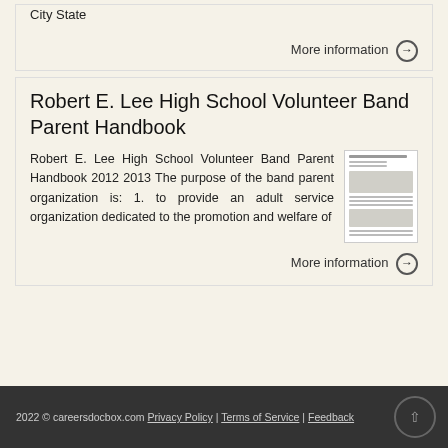City State
More information →
Robert E. Lee High School Volunteer Band Parent Handbook
Robert E. Lee High School Volunteer Band Parent Handbook 2012 2013 The purpose of the band parent organization is: 1. to provide an adult service organization dedicated to the promotion and welfare of
[Figure (screenshot): Thumbnail preview of the Robert E. Lee High School Volunteer Band Parent Handbook document]
More information →
2022 © careersdocbox.com Privacy Policy | Terms of Service | Feedback